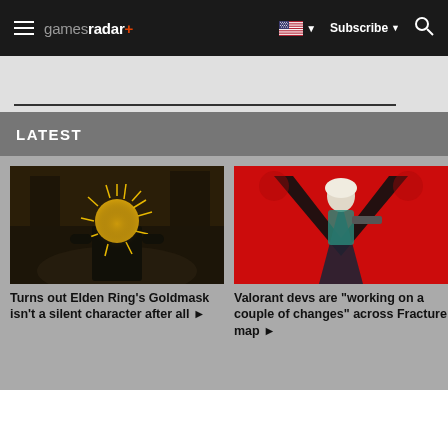gamesradar+ navigation bar with hamburger menu, logo, flag selector, Subscribe button, and search icon
LATEST
[Figure (screenshot): Elden Ring screenshot showing a character with a large golden spiky mask/head seen from behind, in a dark medieval environment]
Turns out Elden Ring's Goldmask isn't a silent character after all ▶
[Figure (screenshot): Valorant character art showing an armored character with white hair against a bold red background with a large black V-shaped logo]
Valorant devs are "working on a couple of changes" across Fracture map ▶